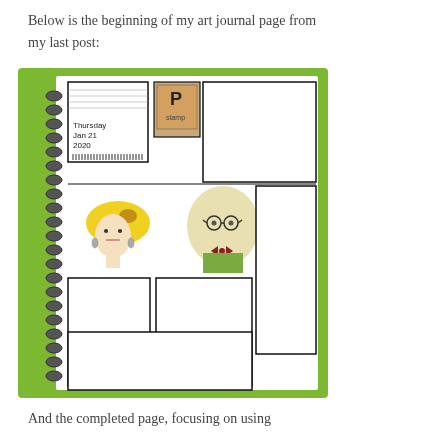Below is the beginning of my art journal page from my last post:
[Figure (photo): A spiral-bound art journal open to a page showing a comic-book style grid layout. The page has drawn panels with illustrations: a woman with yellow hair and earrings, a man with glasses and a bow tie, a date label reading 'Thursday Jan 21 2020', a small postage stamp image, and a label reading 'Lunch in the Park at'. The journal has a green cover and black spiral binding on the left side.]
And the completed page, focusing on using